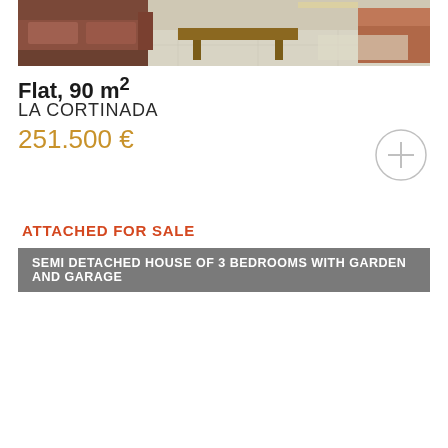[Figure (photo): Interior photo of a living room with brown/orange sofas, wooden furniture, and tiled floor]
Flat, 90 m²
LA CORTINADA
251.500 €
ATTACHED FOR SALE
SEMI DETACHED HOUSE OF 3 BEDROOMS WITH GARDEN AND GARAGE